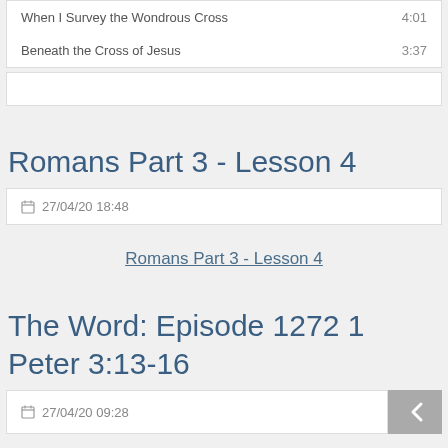| Title | Duration |
| --- | --- |
| When I Survey the Wondrous Cross | 4:01 |
| Beneath the Cross of Jesus | 3:37 |
Romans Part 3 - Lesson 4
27/04/20 18:48
Romans Part 3 - Lesson 4
The Word: Episode 1272 1 Peter 3:13-16
27/04/20 09:28